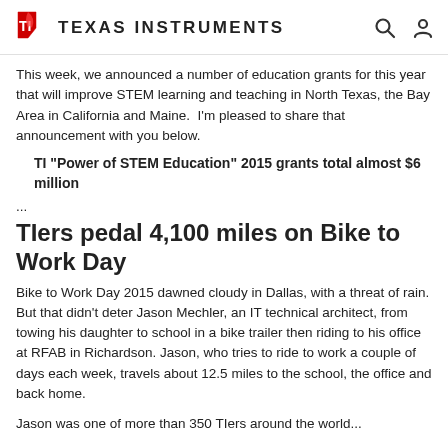Texas Instruments
This week, we announced a number of education grants for this year that will improve STEM learning and teaching in North Texas, the Bay Area in California and Maine.  I'm pleased to share that announcement with you below.
TI "Power of STEM Education" 2015 grants total almost $6 million
...
TIers pedal 4,100 miles on Bike to Work Day
Bike to Work Day 2015 dawned cloudy in Dallas, with a threat of rain. But that didn't deter Jason Mechler, an IT technical architect, from towing his daughter to school in a bike trailer then riding to his office at RFAB in Richardson. Jason, who tries to ride to work a couple of days each week, travels about 12.5 miles to the school, the office and back home.
Jason was one of more than 350 TIers around the world...